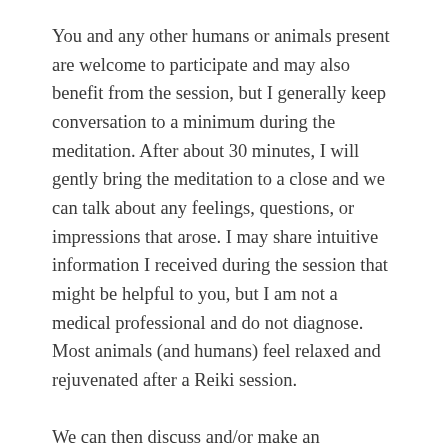You and any other humans or animals present are welcome to participate and may also benefit from the session, but I generally keep conversation to a minimum during the meditation. After about 30 minutes, I will gently bring the meditation to a close and we can talk about any feelings, questions, or impressions that arose. I may share intuitive information I received during the session that might be helpful to you, but I am not a medical professional and do not diagnose. Most animals (and humans) feel relaxed and rejuvenated after a Reiki session.
We can then discuss and/or make an appointment for further treatment. The benefits of Reiki are cumulative and it helps the animal to get to know me over multiple visits, so I generally recommend a series of three sessions over 10 days to three weeks, depending on